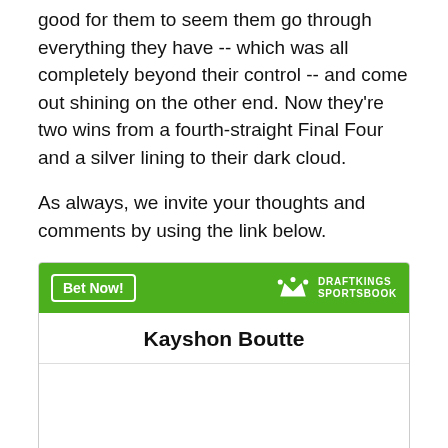good for them to seem them go through everything they have -- which was all completely beyond their control -- and come out shining on the other end. Now they're two wins from a fourth-straight Final Four and a silver lining to their dark cloud.
As always, we invite your thoughts and comments by using the link below.
[Figure (other): DraftKings Sportsbook betting widget showing Kayshon Boutte with odds +15000 to win Heisman Trophy. Green header with 'Bet Now!' button and DraftKings Sportsbook logo.]